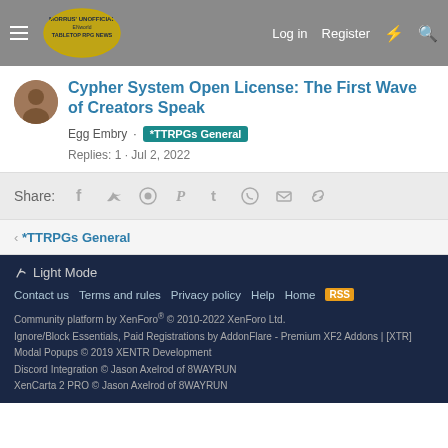Morrus' Unofficial Tabletop RPG News — Log in  Register
Cypher System Open License: The First Wave of Creators Speak
Egg Embry · *TTRPGs General
Replies: 1 · Jul 2, 2022
Share: [Facebook] [Twitter] [Reddit] [Pinterest] [Tumblr] [WhatsApp] [Email] [Link]
< *TTRPGs General
🔗 Light Mode
Contact us  Terms and rules  Privacy policy  Help  Home  [RSS]
Community platform by XenForo® © 2010-2022 XenForo Ltd.
Ignore/Block Essentials, Paid Registrations by AddonFlare - Premium XF2 Addons | [XTR] Modal Popups © 2019 XENTR Development
Discord Integration © Jason Axelrod of 8WAYRUN
XenCarta 2 PRO © Jason Axelrod of 8WAYRUN